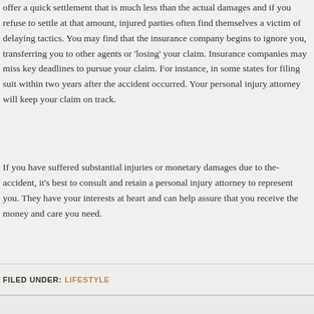offer a quick settlement that is much less than the actual damages and if you refuse to settle at that amount, injured parties often find themselves a victim of delaying tactics. You may find that the insurance company begins to ignore you, transferring you to other agents or 'losing' your claim. Insurance companies may miss key deadlines to pursue your claim. For instance, in some states for filing suit within two years after the accident occurred. Your personal injury attorney will keep your claim on track.
If you have suffered substantial injuries or monetary damages due to the accident, it's best to consult and retain a personal injury attorney to represent you. They have your interests at heart and can help assure that you receive the money and care you need.
FILED UNDER: LIFESTYLE
Return to top of page